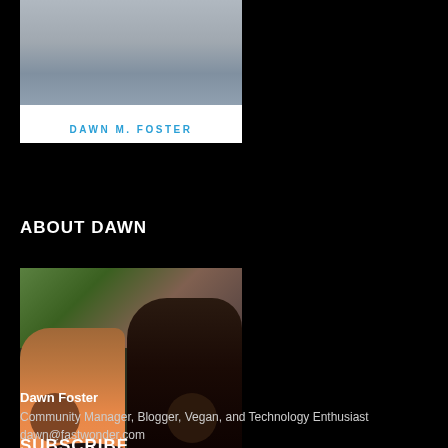[Figure (photo): Book cover or sidebar image showing 'DAWN M. FOSTER' text in blue on white background]
ABOUT DAWN
[Figure (photo): Photo of two people toasting with wine glasses at a table indoors — a young boy on left and a woman in black shirt on right]
Dawn Foster
Community Manager, Blogger, Vegan, and Technology Enthusiast
dawn@fastwonder.com
SUBSCRIBE